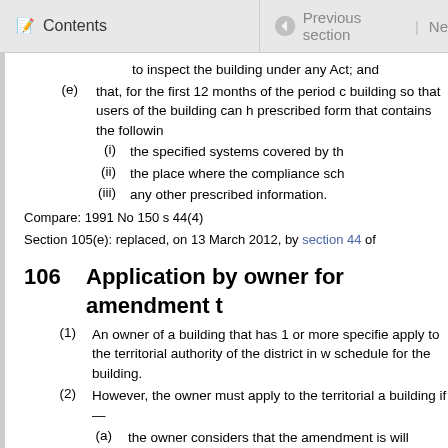Contents | Previous section | Ne
to inspect the building under any Act; and
(e) that, for the first 12 months of the period c building so that users of the building can h prescribed form that contains the followin
(i) the specified systems covered by th
(ii) the place where the compliance sch
(iii) any other prescribed information.
Compare: 1991 No 150 s 44(4)
Section 105(e): replaced, on 13 March 2012, by section 44 of
106 Application by owner for amendment t
(1) An owner of a building that has 1 or more specifie apply to the territorial authority of the district in w schedule for the building.
(2) However, the owner must apply to the territorial a building if—
(a) the owner considers that the amendment is will continue to perform, to the performan
(b) as a result of an amendment to this Act or
(i) no longer complies with the requir